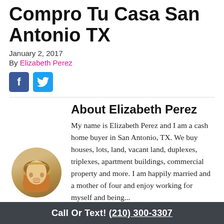Compro Tu Casa San Antonio TX
January 2, 2017
By Elizabeth Perez
[Figure (infographic): Facebook and Twitter social share buttons]
About Elizabeth Perez
My name is Elizabeth Perez and I am a cash home buyer in San Antonio, TX. We buy houses, lots, land, vacant land, duplexes, triplexes, apartment buildings, commercial property and more. I am happily married and a mother of four and enjoy working for myself and being...
[Figure (photo): Circular photo of Elizabeth Perez, a woman with blonde hair]
Call Or Text! (210) 300-3307